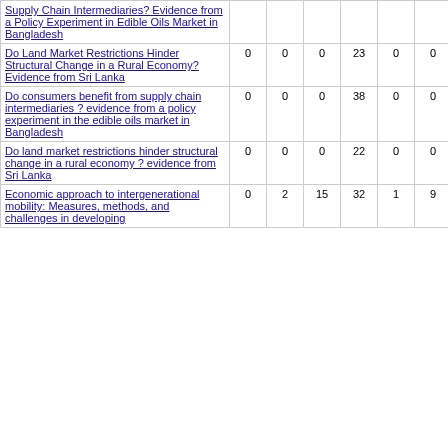| Supply Chain Intermediaries? Evidence from a Policy Experiment in Edible Oils Market in Bangladesh |  |  |  |  |  |  |  |  |
| Do Land Market Restrictions Hinder Structural Change in a Rural Economy? Evidence from Sri Lanka | 0 | 0 | 0 | 23 | 0 | 0 | 2 | 173 |
| Do consumers benefit from supply chain intermediaries ? evidence from a policy experiment in the edible oils market in Bangladesh | 0 | 0 | 0 | 38 | 0 | 0 | 3 | 63 |
| Do land market restrictions hinder structural change in a rural economy ? evidence from Sri Lanka | 0 | 0 | 0 | 22 | 0 | 0 | 1 | 51 |
| Economic approach to intergenerational mobility: Measures, methods, and challenges in developing | 0 | 2 | 15 | 32 | 1 | 9 | 50 | 117 |